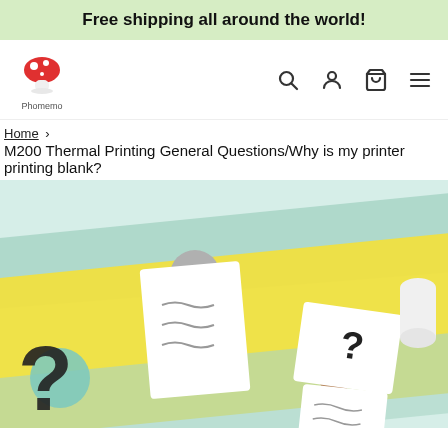Free shipping all around the world!
[Figure (logo): Phomemo mushroom logo - red mushroom with white spots, text 'Phomemo' below]
Home › M200 Thermal Printing General Questions/Why is my printer printing blank?
[Figure (illustration): Decorative illustration with yellow, teal/mint diagonal stripes on light blue background, featuring two document papers with wavy lines pinned with circle clips, a large question mark on the yellow stripe, and a smaller paper with question mark on the right side. Various colored circles (gray, teal, brown) as decorative elements.]